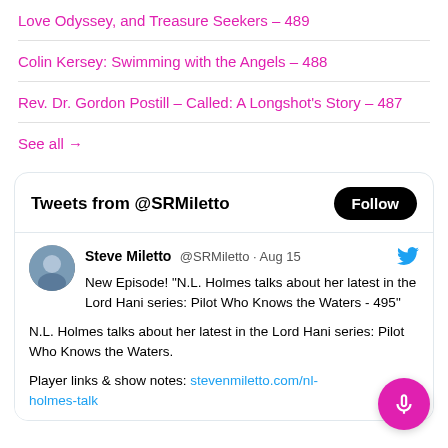Love Odyssey, and Treasure Seekers – 489
Colin Kersey: Swimming with the Angels – 488
Rev. Dr. Gordon Postill – Called: A Longshot's Story – 487
See all →
[Figure (screenshot): Twitter/X widget showing tweets from @SRMiletto with a Follow button, and a tweet by Steve Miletto dated Aug 15 about a new episode featuring N.L. Holmes talking about her latest in the Lord Hani series: Pilot Who Knows the Waters - 495, with preview text and a player link to stevenmiletto.com/nl-holmes-talk]